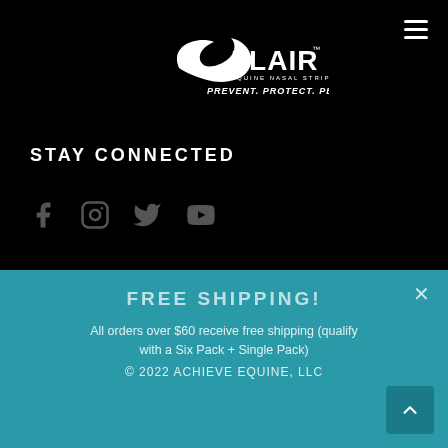[Figure (logo): Flair Equine Nasal Strips logo with tagline PREVENT. PROTECT. PERFORM.™ on black background]
STAY CONNECTED
[Figure (infographic): Social media icons: Facebook, Instagram, Twitter, YouTube]
[Figure (screenshot): Google Translate language selector widget showing Select Language dropdown]
FREE SHIPPING!
All orders over $60 receive free shipping (qualify with a Six Pack + Single Pack)
© 2022 ACHIEVE EQUINE, LLC